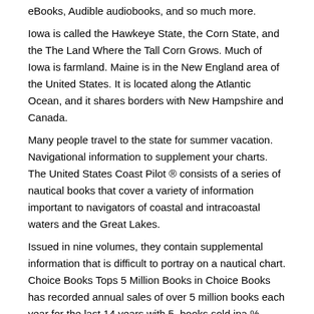eBooks, Audible audiobooks, and so much more.
Iowa is called the Hawkeye State, the Corn State, and the The Land Where the Tall Corn Grows. Much of Iowa is farmland. Maine is in the New England area of the United States. It is located along the Atlantic Ocean, and it shares borders with New Hampshire and Canada.
Many people travel to the state for summer vacation. Navigational information to supplement your charts. The United States Coast Pilot ® consists of a series of nautical books that cover a variety of information important to navigators of coastal and intracoastal waters and the Great Lakes.
Issued in nine volumes, they contain supplemental information that is difficult to portray on a nautical chart. Choice Books Tops 5 Million Books in Choice Books has recorded annual sales of over 5 million books each year for the last 14 years with 5, books sold ina % increase in sales over In addition, sales of non-book items (i.e., Bible covers, boxed blessing cards, book marks, keyrings, etc.) wereunits for the.